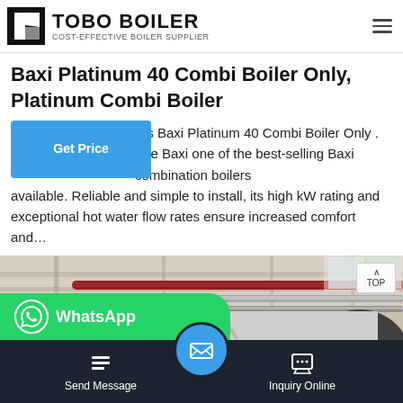TOBO BOILER — COST-EFFECTIVE BOILER SUPPLIER
Baxi Platinum 40 Combi Boiler Only, Platinum Combi Boiler
ers Baxi Platinum 40 Combi Boiler Only . The Baxi one of the best-selling Baxi combination boilers available. Reliable and simple to install, its high kW rating and exceptional hot water flow rates ensure increased comfort and…
[Figure (photo): Industrial boiler room interior showing large cylindrical silver boiler tanks with pipes (red and silver) running along the ceiling of a white industrial building]
WhatsApp
Send Message
Inquiry Online